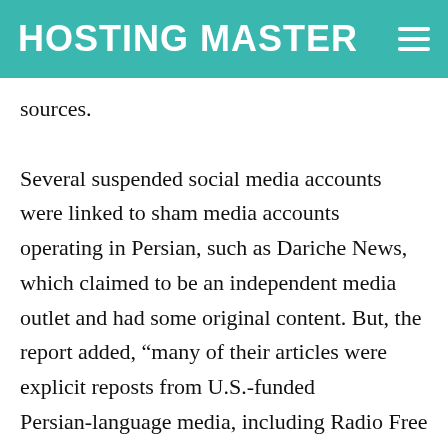HOSTING MASTER≡
sources.

Several suspended social media accounts were linked to sham media accounts operating in Persian, such as Dariche News, which claimed to be an independent media outlet and had some original content. But, the report added, “many of their articles were explicit reposts from U.S.-funded Persian-language media, including Radio Free Europe/Radio Liberty, Radio Farda, and VOA Persian."